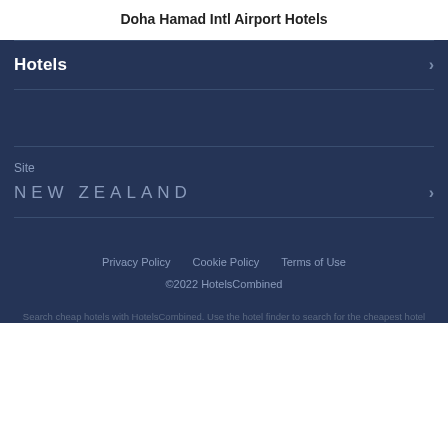Doha Hamad Intl Airport Hotels
Hotels
Site
NEW ZEALAND
Privacy Policy   Cookie Policy   Terms of Use
©2022 HotelsCombined
Search cheap hotels with HotelsCombined. Use the hotel finder to search for the cheapest hotel